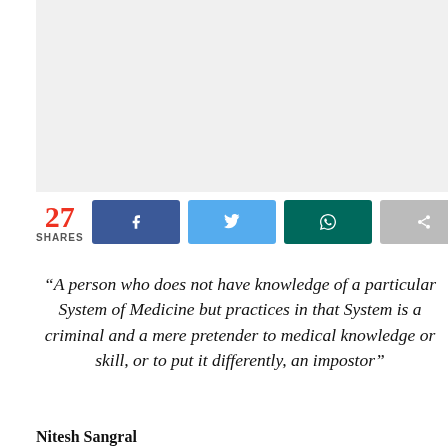[Figure (photo): Light grey placeholder image area at the top of the page]
27 SHARES
“A person who does not have knowledge of a particular System of Medicine but practices in that System is a criminal and a mere pretender to medical knowledge or skill, or to put it differently, an impostor”
Nitesh Sangral